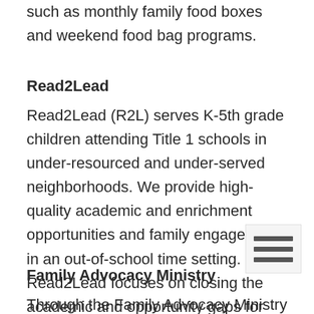such as monthly family food boxes and weekend food bag programs.
Read2Lead
Read2Lead (R2L) serves K-5th grade children attending Title 1 schools in under-resourced and under-served neighborhoods. We provide high-quality academic and enrichment opportunities and family engagement in an out-of-school time setting. Read2Lead focuses on closing the academic and opportunity gaps for children in a safe, life-giving environment.
Family Advocacy Ministry
Through the Family Advocacy Ministry (FAM)